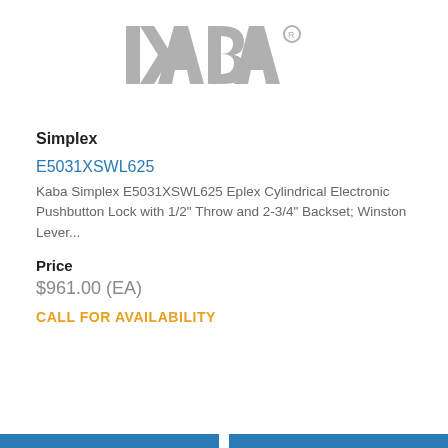[Figure (logo): KABA brand logo in gray with registered trademark symbol]
Simplex
E5031XSWL625
Kaba Simplex E5031XSWL625 Eplex Cylindrical Electronic Pushbutton Lock with 1/2" Throw and 2-3/4" Backset; Winston Lever...
Price
$961.00 (EA)
CALL FOR AVAILABILITY